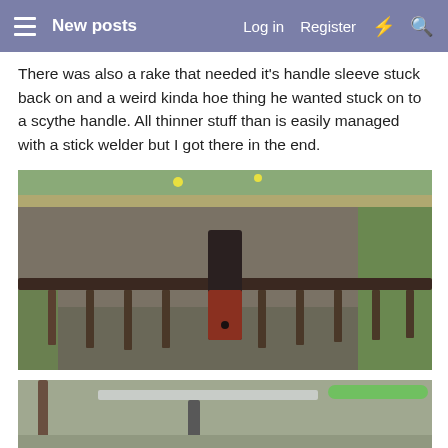New posts  Log in  Register
There was also a rake that needed it's handle sleeve stuck back on and a weird kinda hoe thing he wanted stuck on to a scythe handle. All thinner stuff than is easily managed with a stick welder but I got there in the end.
[Figure (photo): Close-up photo of a metal rake head on the ground, showing a black metal handle sleeve attachment with red/rust coloring, surrounded by soil and grass]
[Figure (photo): Partial photo showing what appears to be a metal tool or hoe attachment, partially visible at the bottom of the page]